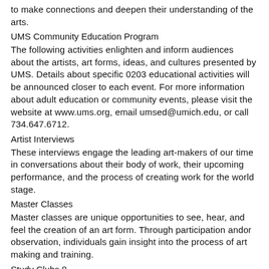to make connections and deepen their understanding of the arts.
UMS Community Education Program
The following activities enlighten and inform audiences about the artists, art forms, ideas, and cultures presented by UMS. Details about specific 0203 educational activities will be announced closer to each event. For more information about adult education or community events, please visit the website at www.ums.org, email umsed@umich.edu, or call 734.647.6712.
Artist Interviews
These interviews engage the leading art-makers of our time in conversations about their body of work, their upcoming performance, and the process of creating work for the world stage.
Master Classes
Master classes are unique opportunities to see, hear, and feel the creation of an art form. Through participation andor observation, individuals gain insight into the process of art making and training.
Study Clubs 8
Led by local experts and educators, UMS Study Clubs offer audiences the opportunity to gain deeper understanding of a particular text, artist, or art form. The study clubs are designed to give a greater appreciation of a specific subject matter.